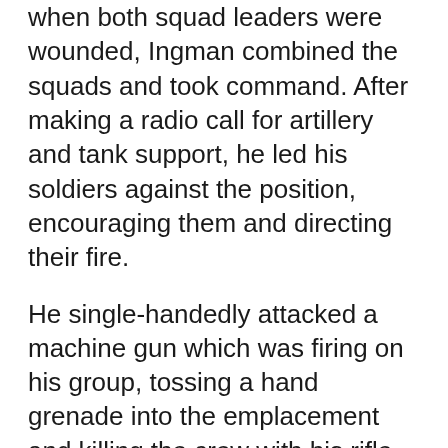when both squad leaders were wounded, Ingman combined the squads and took command. After making a radio call for artillery and tank support, he led his soldiers against the position, encouraging them and directing their fire.
He single-handedly attacked a machine gun which was firing on his group, tossing a hand grenade into the emplacement and killing the crew with his rifle. While approaching a second machine gun, he was knocked to the ground and lost part of his left ear when a grenade exploded near his head. As he got to his feet, he was shot in the face by a Chinese soldier; the bullet entered his upper lip and exited behind his ear. He continued his attack on the machine gun, firing his rifle and killing the remaining crew with his bayonet, until falling unconscious. His men went on to capture their objective, and from there on an instant to assist...